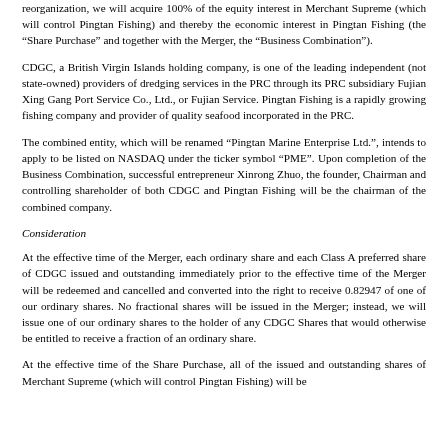reorganization, we will acquire 100% of the equity interest in Merchant Supreme (which will control Pingtan Fishing) and thereby the economic interest in Pingtan Fishing (the “Share Purchase” and together with the Merger, the “Business Combination”).
CDGC, a British Virgin Islands holding company, is one of the leading independent (not state-owned) providers of dredging services in the PRC through its PRC subsidiary Fujian Xing Gang Port Service Co., Ltd., or Fujian Service. Pingtan Fishing is a rapidly growing fishing company and provider of quality seafood incorporated in the PRC.
The combined entity, which will be renamed “Pingtan Marine Enterprise Ltd.”, intends to apply to be listed on NASDAQ under the ticker symbol “PME”. Upon completion of the Business Combination, successful entrepreneur Xinrong Zhuo, the founder, Chairman and controlling shareholder of both CDGC and Pingtan Fishing will be the chairman of the combined company.
Consideration
At the effective time of the Merger, each ordinary share and each Class A preferred share of CDGC issued and outstanding immediately prior to the effective time of the Merger will be redeemed and cancelled and converted into the right to receive 0.82947 of one of our ordinary shares. No fractional shares will be issued in the Merger; instead, we will issue one of our ordinary shares to the holder of any CDGC Shares that would otherwise be entitled to receive a fraction of an ordinary share.
At the effective time of the Share Purchase, all of the issued and outstanding shares of Merchant Supreme (which will control Pingtan Fishing) will be...